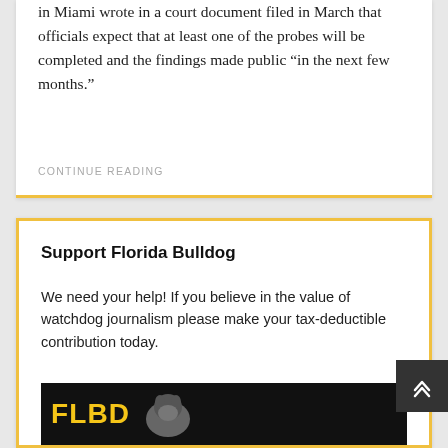in Miami wrote in a court document filed in March that officials expect that at least one of the probes will be completed and the findings made public “in the next few months.”
CONTINUE READING
Support Florida Bulldog
We need your help! If you believe in the value of watchdog journalism please make your tax-deductible contribution today.
We are a 501(c)(3) organization. All donations are tax deductible.
[Figure (logo): Florida Bulldog logo banner — dark background with yellow/gold text]